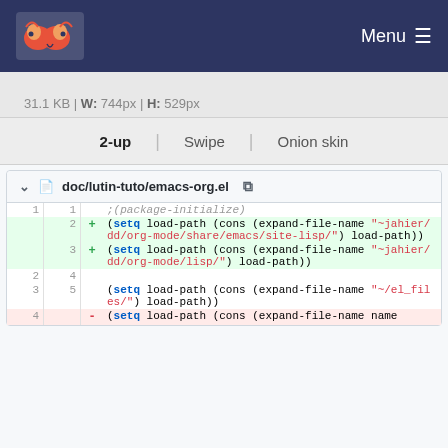Menu
31.1 KB | W: 744px | H: 529px
2-up | Swipe | Onion skin
doc/lutin-tuto/emacs-org.el
;(package-initialize)
+ (setq load-path (cons (expand-file-name "~jahier/dd/org-mode/share/emacs/site-lisp/") load-path))
+ (setq load-path (cons (expand-file-name "~jahier/dd/org-mode/lisp/") load-path))
(setq load-path (cons (expand-file-name "~/el_files/") load-path))
- (setq load-path (cons (expand-file-name name